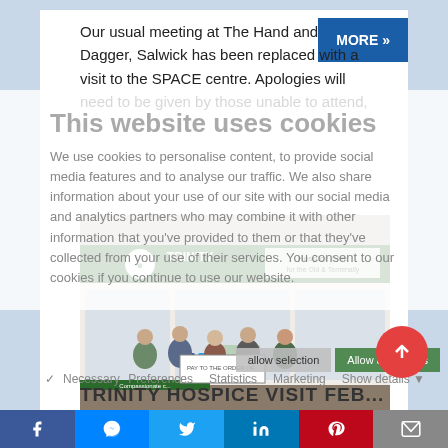Our usual meeting at The Hand and Dagger, Salwick has been replaced with a visit to the SPACE centre. Apologies will need to be given by those unable to attend,
This website uses cookies
We use cookies to personalise content, to provide social media features and to analyse our traffic. We also share information about your use of our site with our social media and analytics partners who may combine it with other information that you've provided to them or that they've collected from your use of their services. You consent to our cookies if you continue to use our website.
[Figure (photo): Five people standing outside Trinity Hospice Care shop holding a large cheque]
TRINITY HOSPICE VISIT FEB
f | messenger | twitter | in | pinterest | email